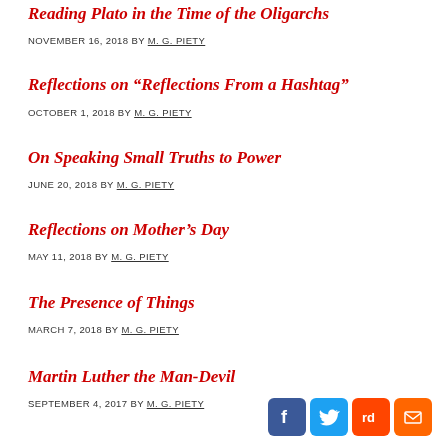Reading Plato in the Time of the Oligarchs
NOVEMBER 16, 2018 BY M. G. PIETY
Reflections on “Reflections From a Hashtag”
OCTOBER 1, 2018 BY M. G. PIETY
On Speaking Small Truths to Power
JUNE 20, 2018 BY M. G. PIETY
Reflections on Mother’s Day
MAY 11, 2018 BY M. G. PIETY
The Presence of Things
MARCH 7, 2018 BY M. G. PIETY
Martin Luther the Man-Devil
SEPTEMBER 4, 2017 BY M. G. PIETY